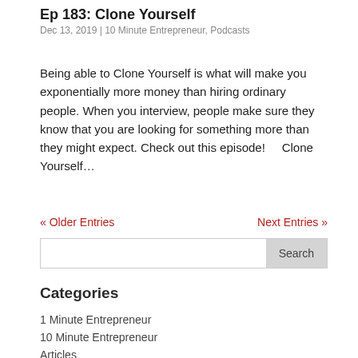Ep 183: Clone Yourself
Dec 13, 2019 | 10 Minute Entrepreneur, Podcasts
Being able to Clone Yourself is what will make you exponentially more money than hiring ordinary people. When you interview, people make sure they know that you are looking for something more than they might expect. Check out this episode!    Clone Yourself…
« Older Entries
Next Entries »
Categories
1 Minute Entrepreneur
10 Minute Entrepreneur
Articles